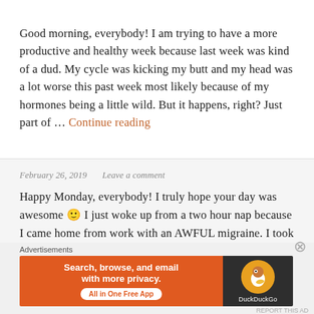Good morning, everybody! I am trying to have a more productive and healthy week because last week was kind of a dud. My cycle was kicking my butt and my head was a lot worse this past week most likely because of my hormones being a little wild. But it happens, right? Just part of … Continue reading
February 26, 2019   Leave a comment
Happy Monday, everybody! I truly hope your day was awesome 🙂 I just woke up from a two hour nap because I came home from work with an AWFUL migraine. I took my medicine and was out. I'm super
[Figure (other): DuckDuckGo advertisement banner with orange left section reading 'Search, browse, and email with more privacy. All in One Free App' and dark right section with DuckDuckGo logo and duck mascot]